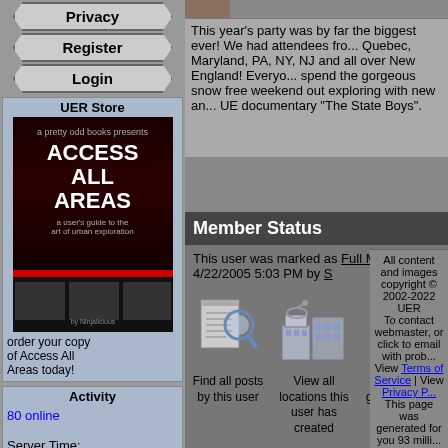Privacy
Register
Login
UER Store
[Figure (photo): Book cover: ACCESS ALL AREAS - a user's guide to the art of urban exploration]
order your copy of Access All Areas today!
Activity
80 online

Server Time:
2022-09-04
03:30:11
Visit
Infiltration
Access All Areas
AvBrand
This year's party was by far the biggest ever! We had attendees from Quebec, Maryland, PA, NY, NJ and all over New England! Everyone spend the gorgeous snow free weekend out exploring with new an... UE documentary "The State Boys".
Member Status
This user was marked as Full Member on 4/22/2005 5:03 PM by S...
[Figure (illustration): Find all posts by this user icon - document with magnifying glass]
[Figure (illustration): View all locations this user has created icon - buildings]
[Figure (illustration): View all galleries and stories this user has created icon - globe with buildings]
All content and images copyright © 2002-2022 UER
To contact webmaster, or click to email with prob...
View Terms of Service | View Privacy P...
This page was generated for you 93 milli...